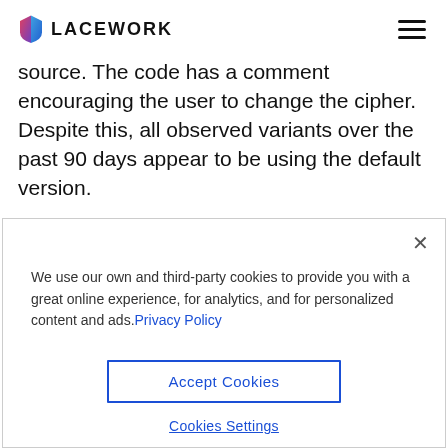LACEWORK
source. The code has a comment encouraging the user to change the cipher. Despite this, all observed variants over the past 90 days appear to be using the default version.
We use our own and third-party cookies to provide you with a great online experience, for analytics, and for personalized content and ads. Privacy Policy
Accept Cookies
Cookies Settings
Figure 2: ZiggyStar.Xor Substitution Cipher